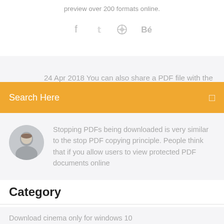preview over 200 formats online.
[Figure (illustration): Social media icons: Facebook, Twitter, a wheel/dribbble icon, and Behance icon in gray]
24 Apr 2018 You can also share a PDF file with the
Search Here
[Figure (photo): Circular avatar photo of a man]
Stopping PDFs being downloaded is very similar to the stop PDF copying principle. People think that if you allow users to view protected PDF documents online
Category
Download cinema only for windows 10